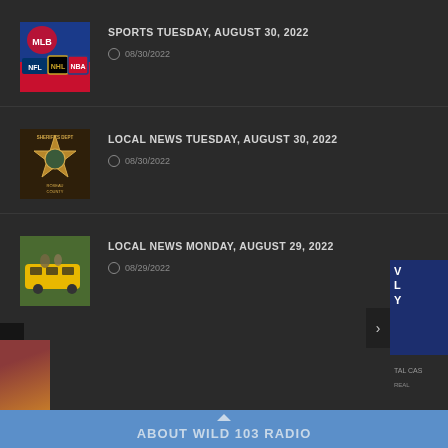[Figure (logo): Sports logos collage thumbnail (MLB, NFL, NHL, NBA logos)]
SPORTS TUESDAY, AUGUST 30, 2022
08/30/2022
[Figure (photo): Roseau County Sheriff's Department badge patch thumbnail]
LOCAL NEWS TUESDAY, AUGUST 30, 2022
08/30/2022
[Figure (photo): Yellow school bus with students thumbnail]
LOCAL NEWS MONDAY, AUGUST 29, 2022
08/29/2022
ABOUT WILD 103 RADIO